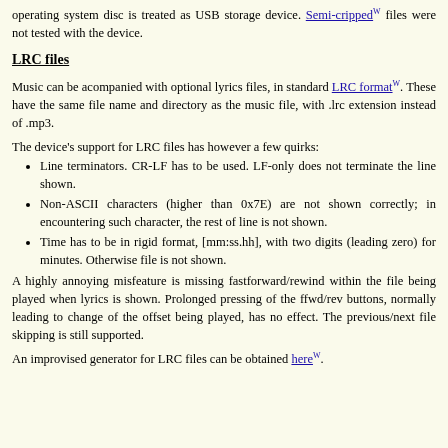operating system disc is treated as USB storage device. Semi-crippled files were not tested with the device.
LRC files
Music can be acompanied with optional lyrics files, in standard LRC format. These have the same file name and directory as the music file, with .lrc extension instead of .mp3.
The device's support for LRC files has however a few quirks:
Line terminators. CR-LF has to be used. LF-only does not terminate the line shown.
Non-ASCII characters (higher than 0x7E) are not shown correctly; in encountering such character, the rest of line is not shown.
Time has to be in rigid format, [mm:ss.hh], with two digits (leading zero) for minutes. Otherwise file is not shown.
A highly annoying misfeature is missing fastforward/rewind within the file being played when lyrics is shown. Prolonged pressing of the ffwd/rev buttons, normally leading to change of the offset being played, has no effect. The previous/next file skipping is still supported.
An improvised generator for LRC files can be obtained here.